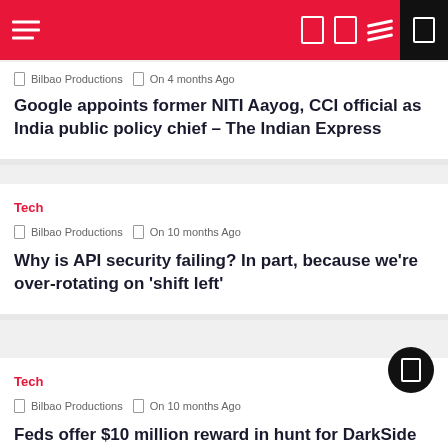Bilbao Productions navigation bar
Bilbao Productions  On 4 months Ago
Google appoints former NITI Aayog, CCI official as India public policy chief – The Indian Express
Tech
Bilbao Productions  On 10 months Ago
Why is API security failing? In part, because we're over-rotating on 'shift left'
Tech
Bilbao Productions  On 10 months Ago
Feds offer $10 million reward in hunt for DarkSide